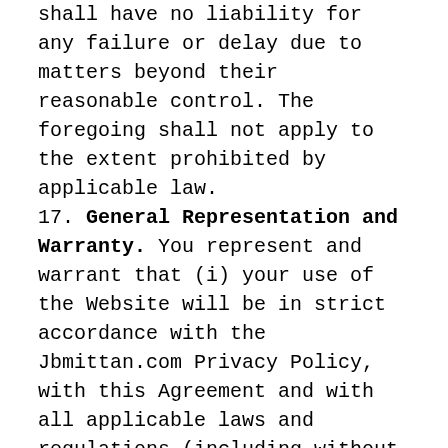shall have no liability for any failure or delay due to matters beyond their reasonable control. The foregoing shall not apply to the extent prohibited by applicable law.
17. General Representation and Warranty. You represent and warrant that (i) your use of the Website will be in strict accordance with the Jbmittan.com Privacy Policy, with this Agreement and with all applicable laws and regulations (including without limitation any local laws or regulations in your country, state, city, or other governmental area, regarding online conduct and acceptable content, and including all applicable laws regarding the transmission of technical data exported from the United States or the country in which you reside) and (ii) your use of the Website will not infringe or misappropriate the intellectual property rights of any third party.